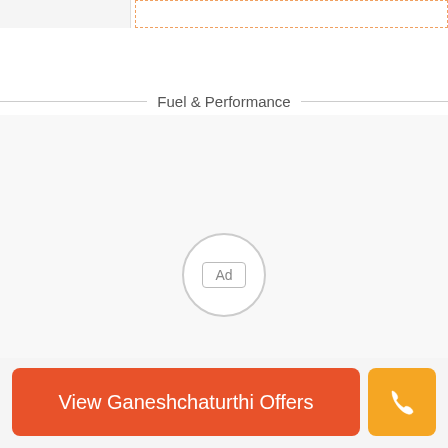Fuel & Performance
[Figure (other): Advertisement placeholder area with a circular 'Ad' label in the center]
View Ganeshchaturthi Offers